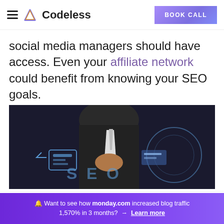Codeless — BOOK CALL
social media managers should have access. Even your affiliate network could benefit from knowing your SEO goals.
[Figure (photo): A person in a suit holding SEO-related technology concept imagery with blue circuit/SEO graphic overlay]
Brad Smith
Founder & CEO
🔔 Want to see how monday.com increased blog traffic 1,570% in 3 months? → Learn more